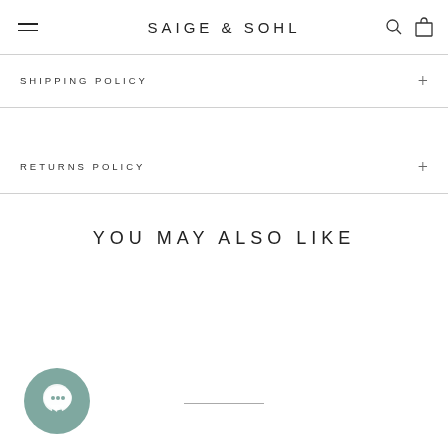SAIGE & SOHL
SHIPPING POLICY
RETURNS POLICY
YOU MAY ALSO LIKE
[Figure (illustration): Chat bubble icon (circular, muted teal/green color) in lower left corner]
[Figure (other): Horizontal line placeholder for product image]